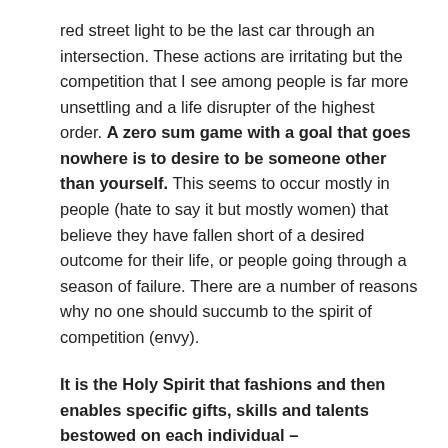red street light to be the last car through an intersection. These actions are irritating but the competition that I see among people is far more unsettling and a life disrupter of the highest order. A zero sum game with a goal that goes nowhere is to desire to be someone other than yourself. This seems to occur mostly in people (hate to say it but mostly women) that believe they have fallen short of a desired outcome for their life, or people going through a season of failure. There are a number of reasons why no one should succumb to the spirit of competition (envy).
It is the Holy Spirit that fashions and then enables specific gifts, skills and talents bestowed on each individual –
" All these (gifts, achievements, abilities) are inspired and brought to pass by one and the same (Holy)